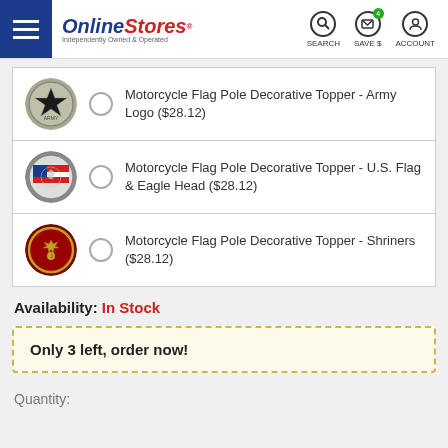OnlineStores — SEARCH SAVE $ ACCOUNT
Motorcycle Flag Pole Decorative Topper - Army Logo ($28.12)
Motorcycle Flag Pole Decorative Topper - U.S. Flag & Eagle Head ($28.12)
Motorcycle Flag Pole Decorative Topper - Shriners ($28.12)
Availability: In Stock
Only 3 left, order now!
Quantity: